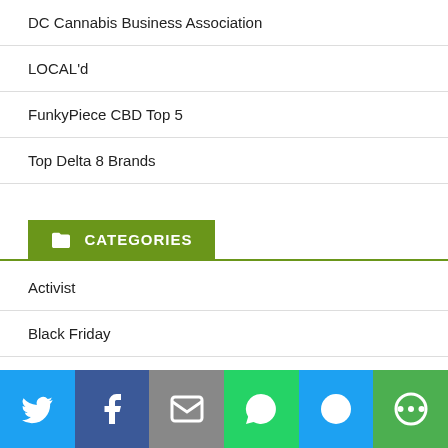DC Cannabis Business Association
LOCAL'd
FunkyPiece CBD Top 5
Top Delta 8 Brands
CATEGORIES
Activist
Black Friday
Buy Kratom
Cannabis
CBD